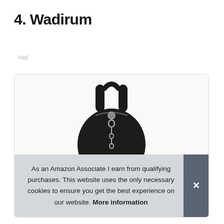4. Wadirum
#ad
[Figure (photo): Black leather backpack with round body, top handle, shoulder straps, and a metal zipper pull/chain charm, shown from the front.]
As an Amazon Associate I earn from qualifying purchases. This website uses the only necessary cookies to ensure you get the best experience on our website. More information